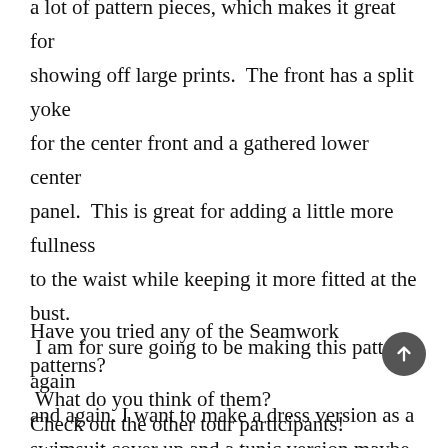a lot of pattern pieces, which makes it great for showing off large prints. The front has a split yoke for the center front and a gathered lower center panel. This is great for adding a little more fullness to the waist while keeping it more fitted at the bust. I am for sure going to be making this pattern again and again. I want to make a dress version as a swimsuit cover up and a tunic version maybe adding some buttons to the yoke.
Have you tried any of the Seamwork patterns? What do you think of them?
Check out the other tour participants!